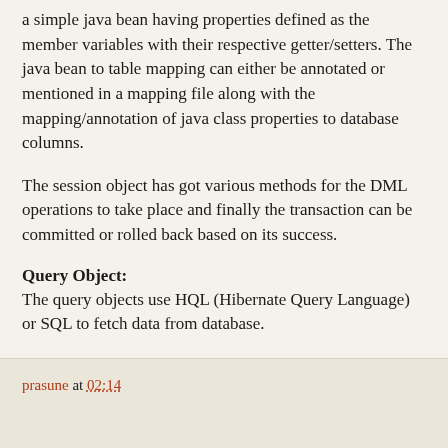a simple java bean having properties defined as the member variables with their respective getter/setters. The java bean to table mapping can either be annotated or mentioned in a mapping file along with the mapping/annotation of java class properties to database columns.
The session object has got various methods for the DML operations to take place and finally the transaction can be committed or rolled back based on its success.
Query Object:
The query objects use HQL (Hibernate Query Language) or SQL to fetch data from database.
Criteria Object:
Criteria object is used to create and execute where clause or the filter criteria to fetch data from database.
prasune at 02:14